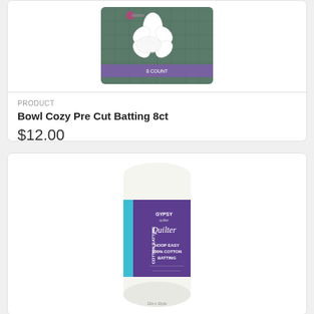[Figure (photo): Product photo of Bowl Cozy Pre Cut Batting 8ct showing flower-shaped white batting pieces on a cutting mat with packaging]
PRODUCT
Bowl Cozy Pre Cut Batting 8ct
$12.00
[Figure (photo): Product photo of Gypsy Quilter cotton batting roll in purple and white packaging labeled COTTON BATTING HOOP EASY 100% COTTON BATTING]